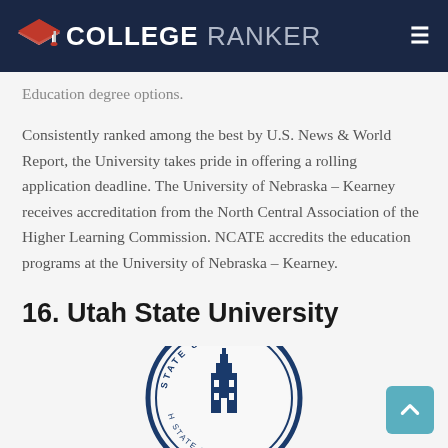COLLEGE RANKER
Education degree options.
Consistently ranked among the best by U.S. News & World Report, the University takes pride in offering a rolling application deadline. The University of Nebraska – Kearney receives accreditation from the North Central Association of the Higher Learning Commission. NCATE accredits the education programs at the University of Nebraska – Kearney.
16. Utah State University
[Figure (logo): Utah State University circular seal/logo in dark blue, partially visible at bottom of page]